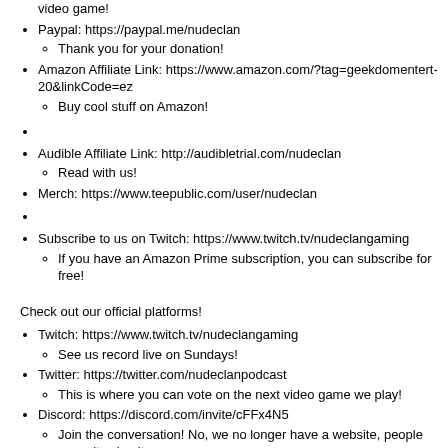Paypal: https://paypal.me/nudeclan
Thank you for your donation!
Amazon Affiliate Link: https://www.amazon.com/?tag=geekdomentert-20&linkCode=ez
Buy cool stuff on Amazon!
Audible Affiliate Link: http://audibletrial.com/nudeclan
Read with us!
Merch: https://www.teepublic.com/user/nudeclan
Subscribe to us on Twitch: https://www.twitch.tv/nudeclangaming
If you have an Amazon Prime subscription, you can subscribe for free!
Check out our official platforms!
Twitch: https://www.twitch.tv/nudeclangaming
See us record live on Sundays!
Twitter: https://twitter.com/nudeclanpodcast
This is where you can vote on the next video game we play!
Discord: https://discord.com/invite/cFFx4N5
Join the conversation! No, we no longer have a website, people weren't using it...
Youtube: https://www.youtube.com/nudecclangamingpodcast